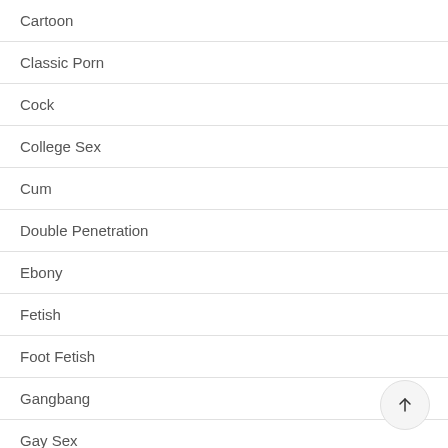Cartoon
Classic Porn
Cock
College Sex
Cum
Double Penetration
Ebony
Fetish
Foot Fetish
Gangbang
Gay Sex